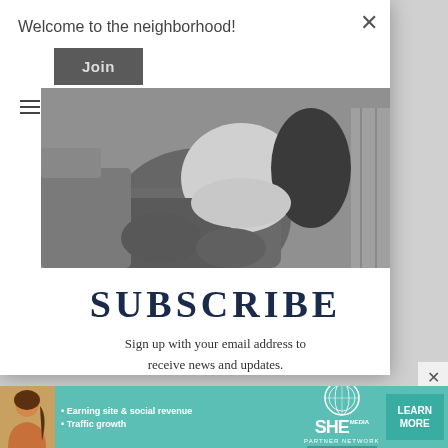Welcome to the neighborhood!
Join
SUBSCRIBE
Sign up with your email address to receive news and updates.
[Figure (photo): Black and white photo of a person sitting, wearing jeans and a white shirt, with dark wavy hair visible]
[Figure (infographic): SHE Partner Network advertisement banner with teal background, woman's photo, bullet points: Earning site & social revenue, Traffic growth, SHE logo, LEARN MORE button]